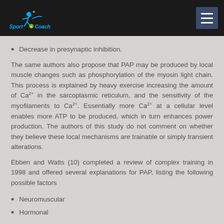Sport e Coach
Decrease in presynaptic inhibition.
The same authors also propose that PAP may be produced by local muscle changes such as phosphorylation of the myosin light chain. This process is explained by heavy exercise increasing the amount of Ca2+ in the sarcoplasmic reticulum, and the sensitivity of the myofilaments to Ca2+. Essentially more Ca2+ at a cellular level enables more ATP to be produced, which in turn enhances power production. The authors of this study do not comment on whether they believe these local mechanisms are trainable or simply transient alterations.
Ebben and Watts (10) completed a review of complex training in 1998 and offered several explanations for PAP, listing the following possible factors
Neuromuscular
Hormonal